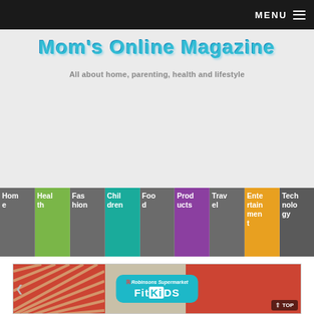MENU ☰
Mom's Online Magazine
All about home, parenting, health and lifestyle
Home
Health
Fashion
Children
Food
Products
Travel
Entertainment
Technology
[Figure (photo): Robinsons Supermarket Fit Kids promotional display with colorful shopping basket and logo]